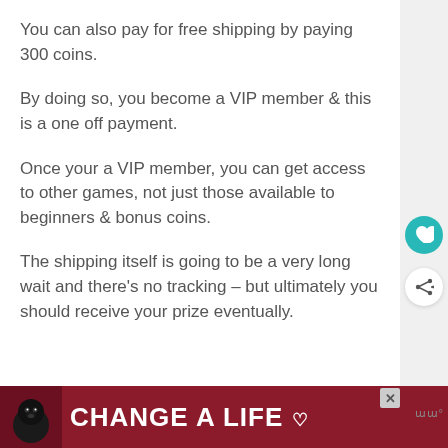You can also pay for free shipping by paying 300 coins.
By doing so, you become a VIP member & this is a one off payment.
Once your a VIP member, you can get access to other games, not just those available to beginners & bonus coins.
The shipping itself is going to be a very long wait and there’s no tracking – but ultimately you should receive your prize eventually.
[Figure (other): Advertisement banner for 'Change A Life' charity/campaign featuring a black Labrador dog. Dark red/maroon background with white bold text reading CHANGE A LIFE. Close button (X) visible. Small logo in bottom right corner.]